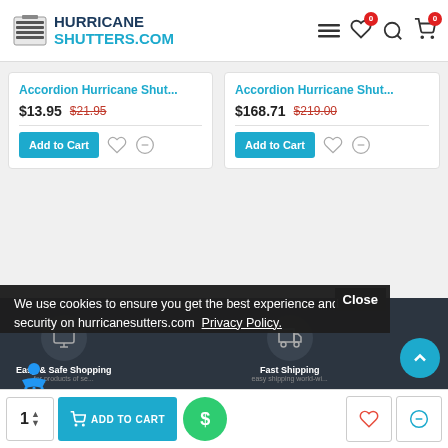Hurricane Shutters.com navigation header with logo, hamburger menu, wishlist (0), search, and cart (0) icons
Accordion Hurricane Shut...
$13.95  $21.95
Add to Cart
Accordion Hurricane Shut...
$168.71  $219.00
Add to Cart
Close
We use cookies to ensure you get the best experience and security on hurricanesutters.com  Privacy Policy.
Easy & Safe Shopping
Fast Shipping
easy shipping world-wi...
Preferences
Accept
1  ADD TO CART  (dollar icon)  (heart icon)  (compare icon)